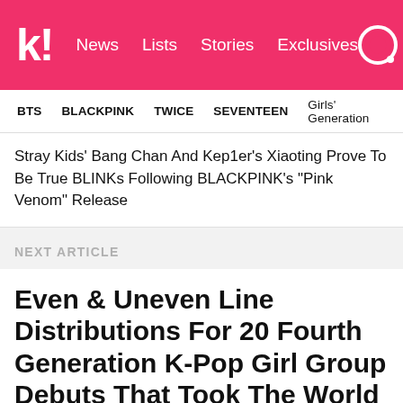k! News Lists Stories Exclusives
BTS BLACKPINK TWICE SEVENTEEN Girls' Generation
Stray Kids' Bang Chan And Kep1er's Xiaoting Prove To Be True BLINKs Following BLACKPINK's "Pink Venom" Release
NEXT ARTICLE
Even & Uneven Line Distributions For 20 Fourth Generation K-Pop Girl Group Debuts That Took The World By Storm